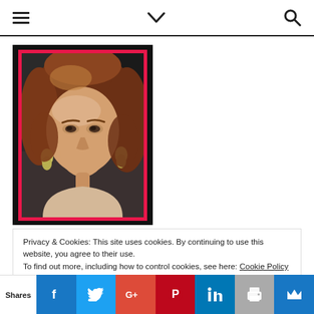Navigation bar with hamburger menu, chevron, and search icon
[Figure (photo): Portrait photo of a woman with curly reddish-brown hair, wearing earrings, framed with a pink/red border on a dark background]
Privacy & Cookies: This site uses cookies. By continuing to use this website, you agree to their use.
To find out more, including how to control cookies, see here: Cookie Policy
Shares | Facebook | Twitter | Google+ | Pinterest | LinkedIn | Print | Crown/bookmark